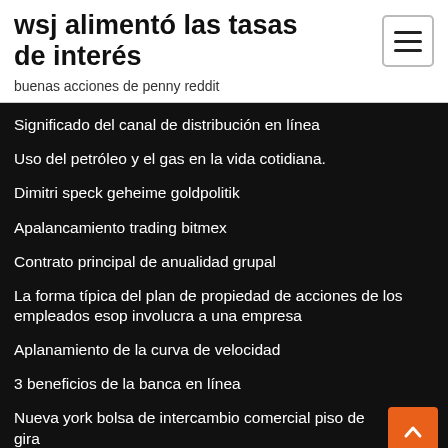wsj alimentó las tasas de interés
buenas acciones de penny reddit
Significado del canal de distribución en línea
Uso del petróleo y el gas en la vida cotidiana.
Dimitri speck geheime goldpolitik
Apalancamiento trading bitmex
Contrato principal de anualidad grupal
La forma típica del plan de propiedad de acciones de los empleados esop involucra a una empresa
Aplanamiento de la curva de velocidad
3 beneficios de la banca en línea
Nueva york bolsa de intercambio comercial piso de gira